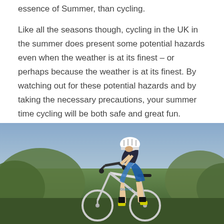essence of Summer, than cycling. Like all the seasons though, cycling in the UK in the summer does present some potential hazards even when the weather is at its finest – or perhaps because the weather is at its finest. By watching out for these potential hazards and by taking the necessary precautions, your summer time cycling will be both safe and great fun.
[Figure (photo): A cyclist in racing gear riding a road bicycle, photographed from below/front angle showing legs, bike frame and handlebars. Background shows sky and trees/foliage.]